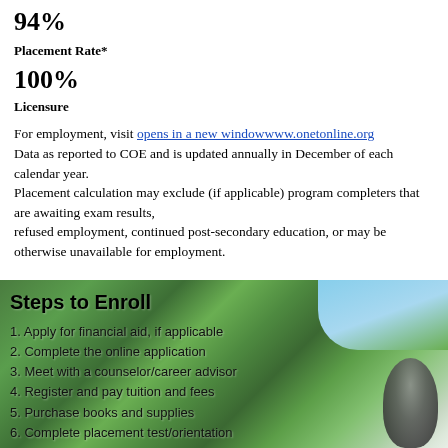94%
Placement Rate*
100%
Licensure
For employment, visit opens in a new windowwww.onetonline.org Data as reported to COE and is updated annually in December of each calendar year. Placement calculation may exclude (if applicable) program completers that are awaiting exam results, refused employment, continued post-secondary education, or may be otherwise unavailable for employment.
[Figure (photo): Outdoor photo with green trees and blue sky serving as background for Steps to Enroll section]
Steps to Enroll
1. Apply for financial aid, if applicable
2. Complete the online application
3. Meet with a counselor/career advisor
4. Register and pay tuition and fees
5. Purchase books and supplies